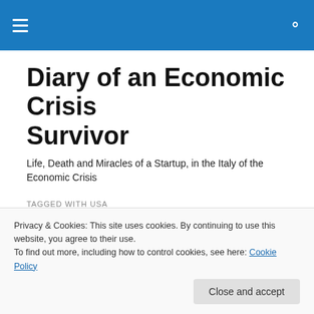☰ [menu icon] | 🔍 [search icon]
Diary of an Economic Crisis Survivor
Life, Death and Miracles of a Startup, in the Italy of the Economic Crisis
TAGGED WITH USA
6. We need a bit of madness to
Privacy & Cookies: This site uses cookies. By continuing to use this website, you agree to their use.
To find out more, including how to control cookies, see here: Cookie Policy
[Close and accept button]